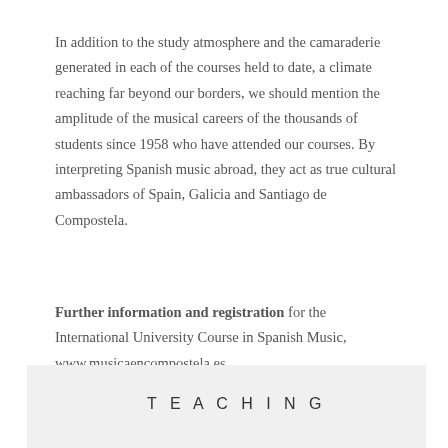In addition to the study atmosphere and the camaraderie generated in each of the courses held to date, a climate reaching far beyond our borders, we should mention the amplitude of the musical careers of the thousands of students since 1958 who have attended our courses. By interpreting Spanish music abroad, they act as true cultural ambassadors of Spain, Galicia and Santiago de Compostela.
Further information and registration for the International University Course in Spanish Music, www.musicaencompostela.es
TEACHING